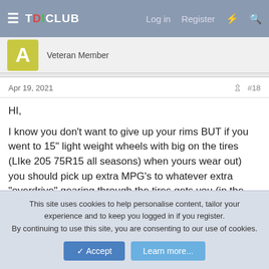TDICLUB — Log in  Register
Veteran Member
Apr 19, 2021  #18
HI,

I know you don't want to give up your rims BUT if you went to 15" light weight wheels with big on the tires (LIke 205 75R15 all seasons) when yours wear out) you should pick up extra MPG's to whatever extra "overdrive" gearing through the tires gets you (in the case above the OD effect is about 8% from factory size ... a pretty good shot in the arm as far as MPGs go (plus if you camp / adventure some extra ground clearance to boot).
This site uses cookies to help personalise content, tailor your experience and to keep you logged in if you register.
By continuing to use this site, you are consenting to our use of cookies.